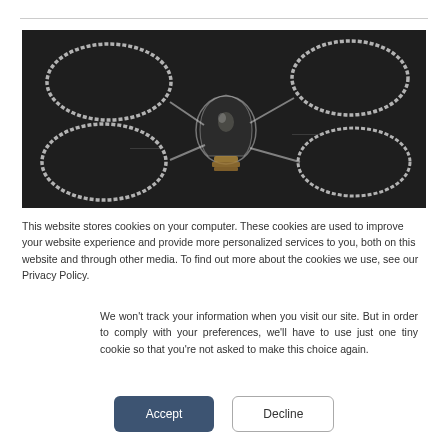[Figure (photo): A dark chalkboard photo with a light bulb in the center and four chalk-drawn ovals at the corners, connected by chalk lines to the bulb, suggesting a mind map or idea concept.]
This website stores cookies on your computer. These cookies are used to improve your website experience and provide more personalized services to you, both on this website and through other media. To find out more about the cookies we use, see our Privacy Policy.
We won't track your information when you visit our site. But in order to comply with your preferences, we'll have to use just one tiny cookie so that you're not asked to make this choice again.